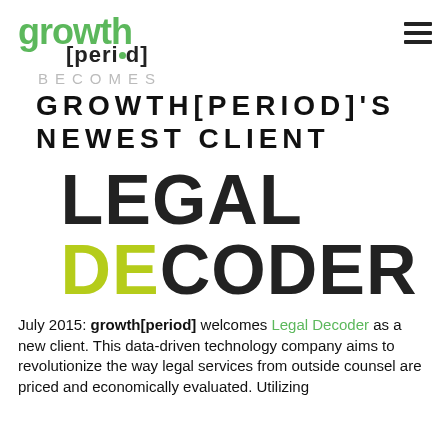[Figure (logo): growth[period] logo with green 'growth' text and black '[peri.d]' text with green dot]
BECOMES
GROWTH[PERIOD]'S NEWEST CLIENT
[Figure (logo): Legal Decoder logo: LEGAL in dark gray, DECODER with DE in yellow-green and CODER in dark gray, bold sans-serif]
July 2015: growth[period] welcomes Legal Decoder as a new client. This data-driven technology company aims to revolutionize the way legal services from outside counsel are priced and economically evaluated. Utilizing